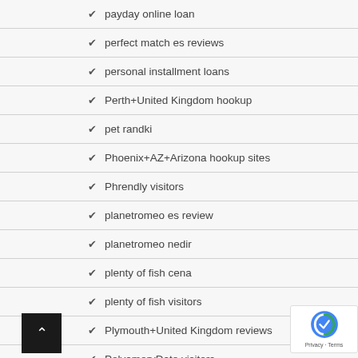payday online loan
perfect match es reviews
personal installment loans
Perth+United Kingdom hookup
pet randki
Phoenix+AZ+Arizona hookup sites
Phrendly visitors
planetromeo es review
planetromeo nedir
plenty of fish cena
plenty of fish visitors
Plymouth+United Kingdom reviews
PolyamoryDate visitors